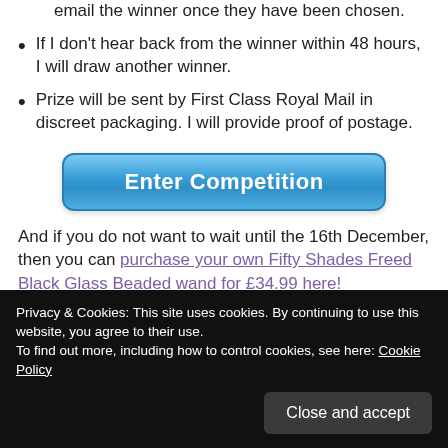email the winner once they have been chosen.
If I don't hear back from the winner within 48 hours, I will draw another winner.
Prize will be sent by First Class Royal Mail in discreet packaging. I will provide proof of postage.
[Figure (other): Blue rounded button with white bold text reading 'Enter Competition']
And if you do not want to wait until the 16th December, then you can purchase your own Fifty Shades Freed Black Glass Beaded wand for £34.99 here!
Privacy & Cookies: This site uses cookies. By continuing to use this website, you agree to their use. To find out more, including how to control cookies, see here: Cookie Policy